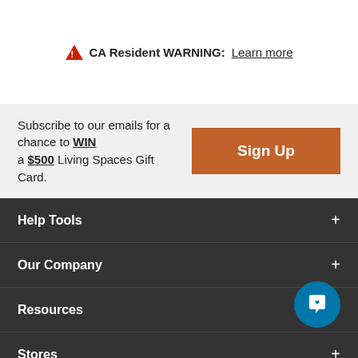CA Resident WARNING: Learn more
Subscribe to our emails for a chance to WIN a $500 Living Spaces Gift Card.
Sign Up
Help Tools
Our Company
Resources
Stores